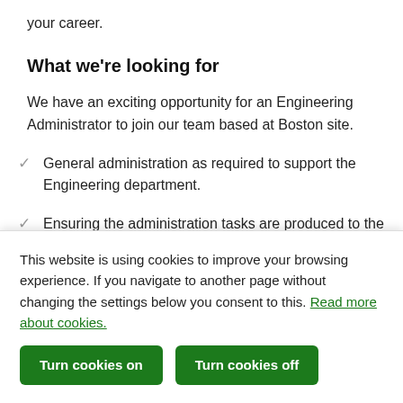your career.
What we're looking for
We have an exciting opportunity for an Engineering Administrator to join our team based at Boston site.
General administration as required to support the Engineering department.
Ensuring the administration tasks are produced to the correct standard and in a timely manner to
This website is using cookies to improve your browsing experience. If you navigate to another page without changing the settings below you consent to this. Read more about cookies.